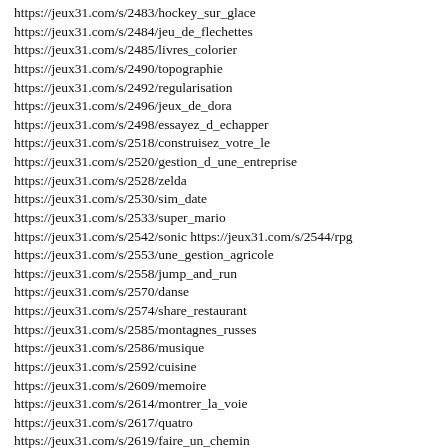https://jeux31.com/s/2483/hockey_sur_glace
https://jeux31.com/s/2484/jeu_de_flechettes
https://jeux31.com/s/2485/livres_colorier
https://jeux31.com/s/2490/topographie
https://jeux31.com/s/2492/regularisation
https://jeux31.com/s/2496/jeux_de_dora
https://jeux31.com/s/2498/essayez_d_echapper
https://jeux31.com/s/2518/construisez_votre_le
https://jeux31.com/s/2520/gestion_d_une_entreprise
https://jeux31.com/s/2528/zelda
https://jeux31.com/s/2530/sim_date
https://jeux31.com/s/2533/super_mario
https://jeux31.com/s/2542/sonic https://jeux31.com/s/2544/rpg
https://jeux31.com/s/2553/une_gestion_agricole
https://jeux31.com/s/2558/jump_and_run
https://jeux31.com/s/2570/danse
https://jeux31.com/s/2574/share_restaurant
https://jeux31.com/s/2585/montagnes_russes
https://jeux31.com/s/2586/musique
https://jeux31.com/s/2592/cuisine
https://jeux31.com/s/2609/memoire
https://jeux31.com/s/2614/montrer_la_voie
https://jeux31.com/s/2617/quatro
https://jeux31.com/s/2619/faire_un_chemin
https://jeux31.com/s/2627/puzzle_quest